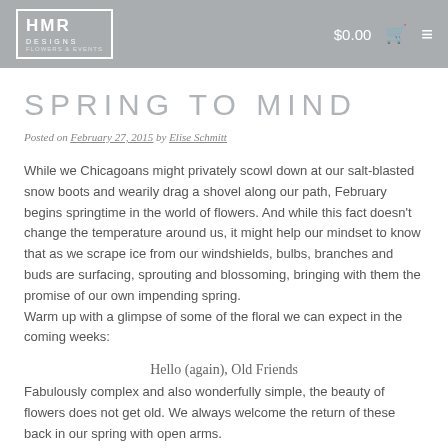HMR DESIGNS  $0.00
SPRING TO MIND
Posted on February 27, 2015 by Elise Schmitt
While we Chicagoans might privately scowl down at our salt-blasted snow boots and wearily drag a shovel along our path, February begins springtime in the world of flowers. And while this fact doesn't change the temperature around us, it might help our mindset to know that as we scrape ice from our windshields, bulbs, branches and buds are surfacing, sprouting and blossoming, bringing with them the promise of our own impending spring.
Warm up with a glimpse of some of the floral we can expect in the coming weeks:
Hello (again), Old Friends
Fabulously complex and also wonderfully simple, the beauty of flowers does not get old. We always welcome the return of these back in our spring with open arms.